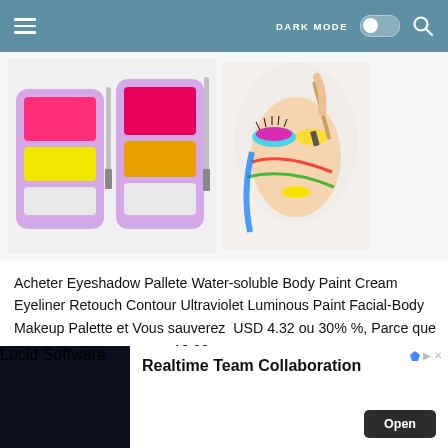DARK MODE [toggle] [search]
[Figure (photo): Two open eyeshadow palettes in lavender cases with pink/yellow/white and pink/orange/white color pans, with brushes alongside]
[Figure (photo): Woman with dramatic colorful face paint makeup - multicolor eye shadow, yellow and rainbow streaks on face, white hair, holding a makeup brush]
Acheter Eyeshadow Pallete Water-soluble Body Paint Cream Eyeliner Retouch Contour Ultraviolet Luminous Paint Facial-Body Makeup Palette et Vous sauverez  USD 4.32 ou 30% %, Parce que vous ne payez que pour  10.08
plein prix pour  14.40
[Figure (screenshot): Advertisement banner for Lucid Software - Realtime Team Collaboration with Open button, dark background with illustrated figure and floating documents]